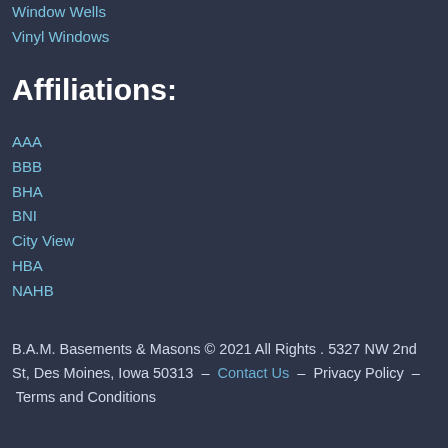Window Wells
Vinyl Windows
Affiliations:
AAA
BBB
BHA
BNI
City View
HBA
NAHB
B.A.M. Basements & Masons © 2021 All Rights . 5327 NW 2nd St, Des Moines, Iowa 50313  –  Contact Us  –  Privacy Policy  –  Terms and Conditions